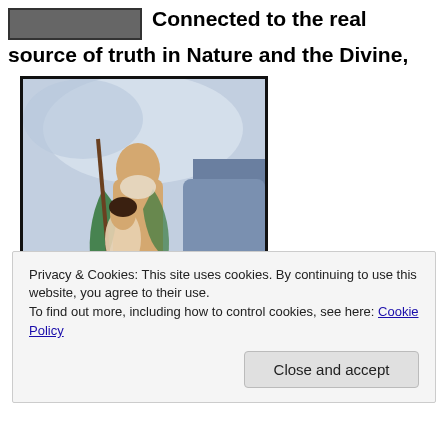[Figure (illustration): Partial top image, cropped painting visible at top left]
Connected to the real source of truth in Nature and the Divine,
[Figure (illustration): Classical painting of a centaur or mythological figure with a female figure, holding a staff, green drapery, painted in romantic/symbolist style]
Privacy & Cookies: This site uses cookies. By continuing to use this website, you agree to their use.
To find out more, including how to control cookies, see here: Cookie Policy
Close and accept